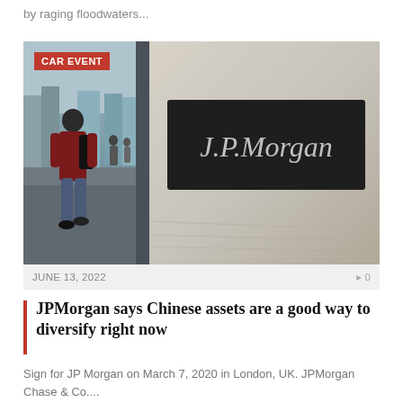by raging floodwaters...
[Figure (photo): J.P. Morgan building sign on the right half; person with backpack walking on street on the left half. Red badge reading 'CAR EVENT' in top-left corner.]
JUNE 13, 2022   0
JPMorgan says Chinese assets are a good way to diversify right now
Sign for JP Morgan on March 7, 2020 in London, UK. JPMorgan Chase & Co....